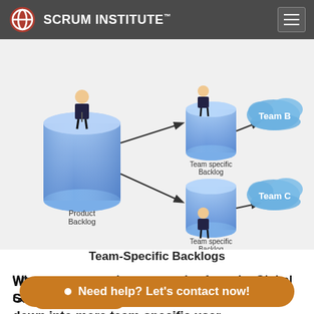SCRUM INSTITUTE™
[Figure (flowchart): Diagram showing Product Backlog (large cylinder with person figure on top) on the left, connected by arrows to two Team-specific Backlogs (smaller cylinders, each with a person figure), which in turn connect to Team B and Team C (cloud shapes on the right).]
Team-Specific Backlogs
When necessary, the user stories from the Global Scrum Product Backlog can be broken down into more team-specific user stories.